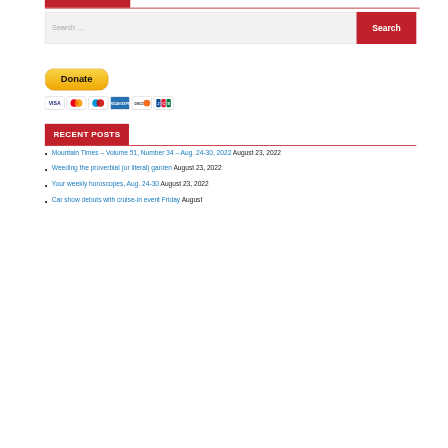[Figure (other): Search bar with red Search button]
[Figure (other): PayPal Donate button with payment card icons (Visa, Mastercard, Maestro, Amex, Discover, JCB)]
RECENT POSTS
Mountain Times – Volume 51, Number 34 – Aug. 24-30, 2022 August 23, 2022
Weeding the proverbial (or literal) garden August 23, 2022
Your weekly horoscopes, Aug. 24-30 August 23, 2022
Car show debuts with cruise-in event Friday August